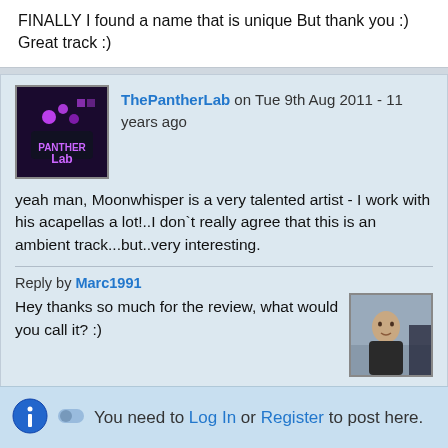FINALLY I found a name that is unique But thank you :) Great track :)
ThePantherLab on Tue 9th Aug 2011 - 11 years ago
yeah man, Moonwhisper is a very talented artist - I work with his acapellas a lot!..I don`t really agree that this is an ambient track...but..very interesting.
Reply by Marc1991
Hey thanks so much for the review, what would you call it? :)
You need to Log In or Register to post here.